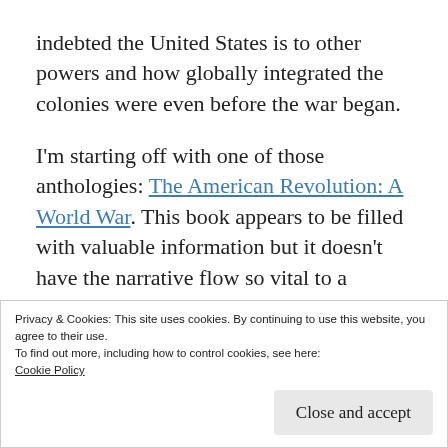indebted the United States is to other powers and how globally integrated the colonies were even before the war began.
I'm starting off with one of those anthologies: The American Revolution: A World War. This book appears to be filled with valuable information but it doesn't have the narrative flow so vital to a popular history.
I've been looking for a book on the origins of
Privacy & Cookies: This site uses cookies. By continuing to use this website, you agree to their use.
To find out more, including how to control cookies, see here: Cookie Policy